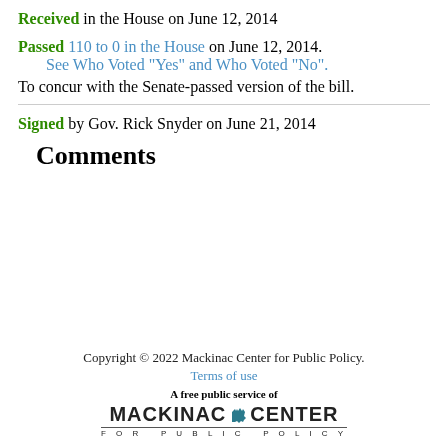Received in the House on June 12, 2014
Passed 110 to 0 in the House on June 12, 2014.
See Who Voted "Yes" and Who Voted "No".
To concur with the Senate-passed version of the bill.
Signed by Gov. Rick Snyder on June 21, 2014
Comments
Copyright © 2022 Mackinac Center for Public Policy.
Terms of use
A free public service of
MACKINAC CENTER FOR PUBLIC POLICY